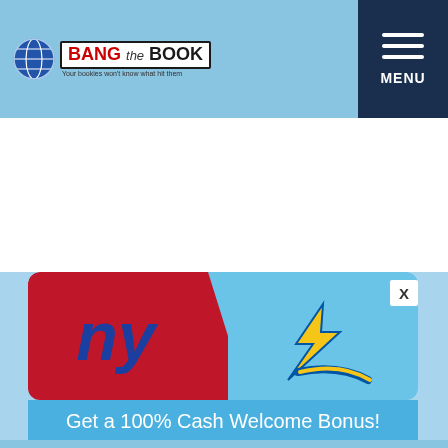BangTheBook - Your bookies won't know what hit them
[Figure (screenshot): NY Giants vs LA Chargers NFL matchup promotional image with left half red (Giants) showing 'ny' logo and right half light blue (Chargers) showing lightning bolt logo]
Get a 100% Cash Welcome Bonus!
CHECKOUT BOOKMAKER.EU FOR OUR EXCLUSIVE BTB BONUS